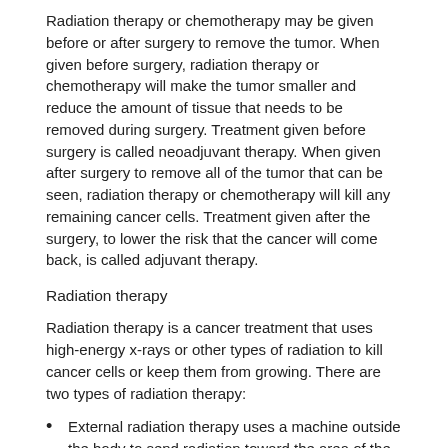Radiation therapy or chemotherapy may be given before or after surgery to remove the tumor. When given before surgery, radiation therapy or chemotherapy will make the tumor smaller and reduce the amount of tissue that needs to be removed during surgery. Treatment given before surgery is called neoadjuvant therapy. When given after surgery to remove all of the tumor that can be seen, radiation therapy or chemotherapy will kill any remaining cancer cells. Treatment given after the surgery, to lower the risk that the cancer will come back, is called adjuvant therapy.
Radiation therapy
Radiation therapy is a cancer treatment that uses high-energy x-rays or other types of radiation to kill cancer cells or keep them from growing. There are two types of radiation therapy:
External radiation therapy uses a machine outside the body to send radiation toward the area of the body with cancer.
Intensity-modulated radiation therapy (IMRT) is a type of 3-dimensional (3-D) radiation therapy that uses a computer to make pictures of the size and shape of the tumor. Thin beams of radiation of different intensities (strengths) are aimed at the tumor from many angles. This type of external radiation therapy causes less damage to nearby healthy tissue and is less likely to